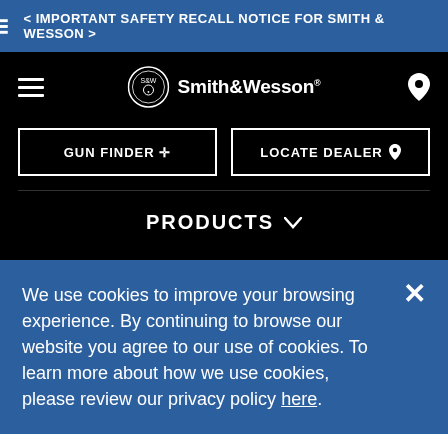< IMPORTANT SAFETY RECALL NOTICE FOR SMITH & WESSON >
[Figure (logo): Smith & Wesson logo with circular emblem and text 'Smith & Wesson']
GUN FINDER +
LOCATE DEALER
PRODUCTS
We use cookies to improve your browsing experience. By continuing to browse our website you agree to our use of cookies. To learn more about how we use cookies, please review our privacy policy here.